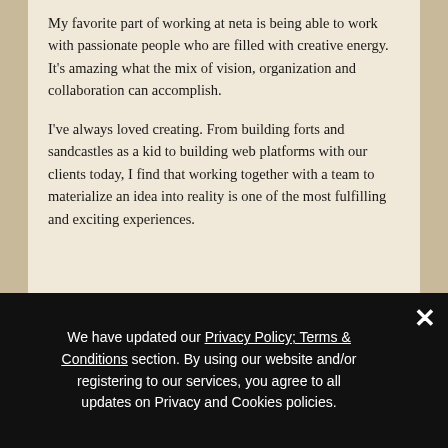My favorite part of working at neta is being able to work with passionate people who are filled with creative energy. It's amazing what the mix of vision, organization and collaboration can accomplish.
I've always loved creating. From building forts and sandcastles as a kid to building web platforms with our clients today, I find that working together with a team to materialize an idea into reality is one of the most fulfilling and exciting experiences.
We have updated our Privacy Policy; Terms & Conditions section. By using our website and/or registering to our services, you agree to all updates on Privacy and Cookies policies.